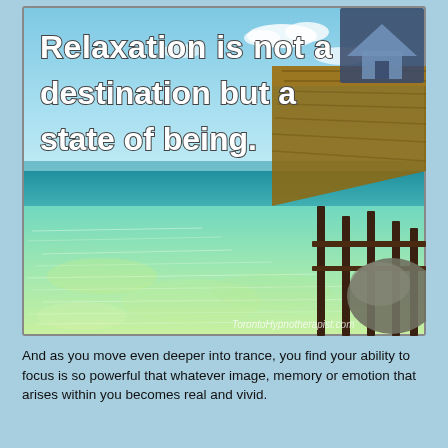[Figure (photo): A tropical beach scene with clear turquoise water in the foreground showing light refractions on a sandy bottom, a thatched-roof overwater bungalow/pier structure on the right side, blue sky with light clouds in the background. A quote overlaid in bold white text with dark outline reads: 'Relaxation is not a destination but a state of being.' A watermark reads 'TorontoHypnotherapist.com'. A dark blue/grey square icon appears in the top-right corner.]
And as you move even deeper into trance, you find your ability to focus is so powerful that whatever image, memory or emotion that arises within you becomes real and vivid.